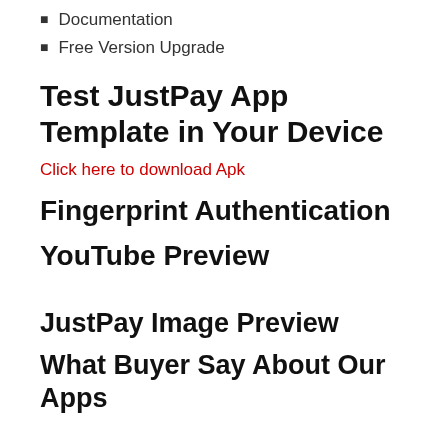Documentation
Free Version Upgrade
Test JustPay App Template in Your Device
Click here to download Apk
Fingerprint Authentication
YouTube Preview
JustPay Image Preview
What Buyer Say About Our Apps